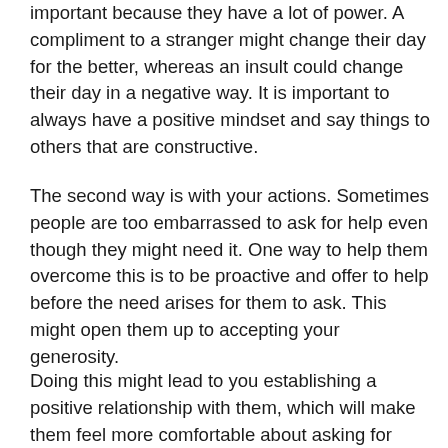important because they have a lot of power. A compliment to a stranger might change their day for the better, whereas an insult could change their day in a negative way. It is important to always have a positive mindset and say things to others that are constructive.
The second way is with your actions. Sometimes people are too embarrassed to ask for help even though they might need it. One way to help them overcome this is to be proactive and offer to help before the need arises for them to ask. This might open them up to accepting your generosity.
Doing this might lead to you establishing a positive relationship with them, which will make them feel more comfortable about asking for your help in the future. This type of relationship is beneficial for both parties and it allows you to add value to the life of another person.